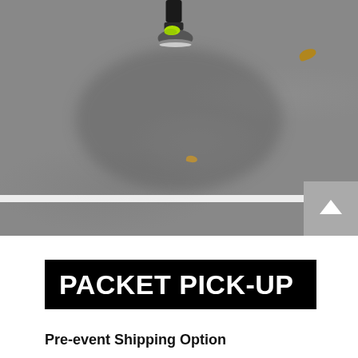[Figure (photo): Close-up photo of a runner's foot mid-stride on a gray asphalt road with a white stripe line. An autumn leaf is visible in the upper right. The road has shadow/light patterns suggesting outdoor natural lighting.]
PACKET PICK-UP
Pre-event Shipping Option